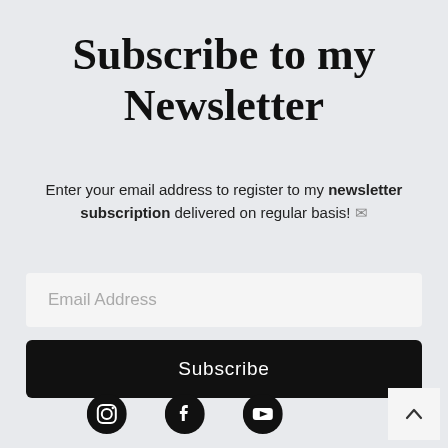Subscribe to my Newsletter
Enter your email address to register to my newsletter subscription delivered on regular basis! ✉
[Figure (other): Email address input field with placeholder text 'Email Address']
[Figure (other): Black Subscribe button]
[Figure (other): Social media icons: Instagram, Facebook, YouTube, and a back-to-top arrow button]